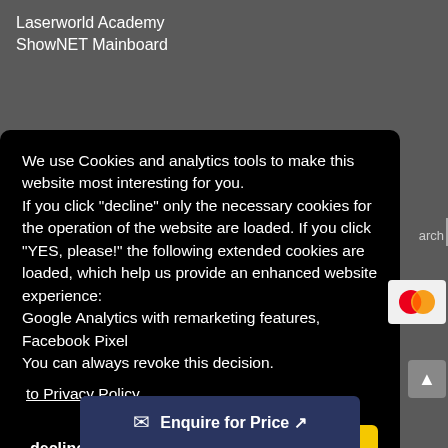Laserworld Academy
ShowNET Mainboard
We use Cookies and analytics tools to make this website most interesting for you.
If you click "decline" only the necessary cookies for the operation of the website are loaded. If you click "YES, please!" the following extended cookies are loaded, which help us provide an enhanced website experience:
Google Analytics with remarketing features,
Facebook Pixel
You can always revoke this decision.
to Privacy Policy
decline
YES, please!
Enquire for Price